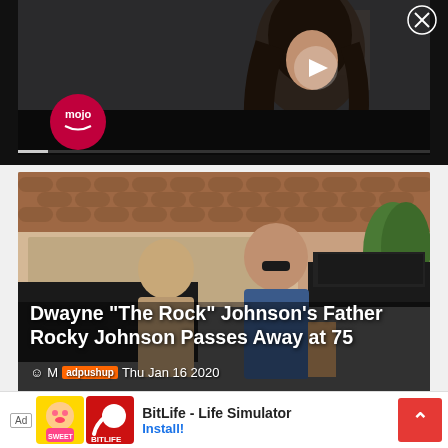[Figure (screenshot): Video player showing a woman with dark hair in a dark scene, with a play button overlay and WatchMojo logo (mojo) in the lower left, and an X close button in the upper right]
[Figure (photo): Two men posing together outdoors in front of a house and vehicle — one older bald man in a tan shirt, and a tall muscular man in a blue t-shirt with sunglasses]
Dwayne "The Rock" Johnson's Father Rocky Johnson Passes Away at 75
M adpushup Thu Jan 16 2020
[Figure (screenshot): Ad banner: BitLife - Life Simulator app advertisement with game icon and install button]